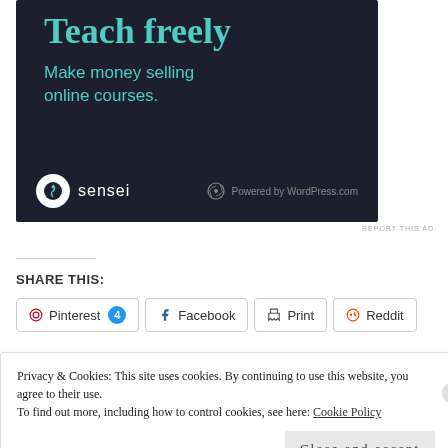[Figure (illustration): Advertisement banner with dark background (#1e1f2e). Shows 'Teach freely' in large teal serif font, 'Make money selling online courses.' in teal sans-serif below. Footer has Sensei logo (white circle with icon + 'sensei' text) and 'Powered by WordPress.com' with WordPress icon.]
REPORT THIS AD
SHARE THIS:
Pinterest 4  Facebook  Print  Reddit
Privacy & Cookies: This site uses cookies. By continuing to use this website, you agree to their use.
To find out more, including how to control cookies, see here: Cookie Policy
Close and accept